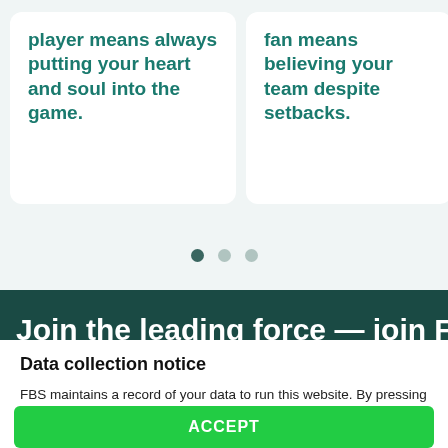player means always putting your heart and soul into the game.
fan means believing your team despite setbacks.
[Figure (other): Carousel pagination dots: one active dark dot and two lighter inactive dots]
Join the leading force — join FBS
Data collection notice
FBS maintains a record of your data to run this website. By pressing the "Accept" button, you agree to our Privacy policy.
ACCEPT